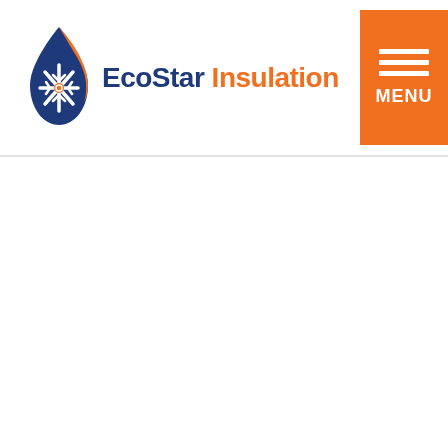[Figure (logo): EcoStar Insulation company logo with blue flame/drop shape containing orange snowflake, text 'EcoStar Insulation' in blue and orange]
[Figure (other): Orange hamburger menu button with three white lines and 'MENU' text label]